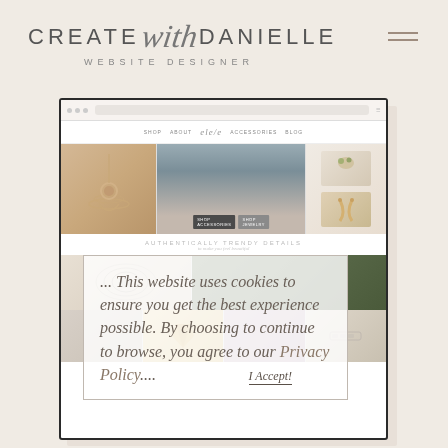[Figure (logo): Create with Danielle - Website Designer logo with hamburger menu icon]
[Figure (screenshot): Screenshot of a jewelry e-commerce website showing product images, navigation, tagline 'Authentically Trendy Details' and a cookie consent overlay reading 'This website uses cookies to ensure you get the best experience possible. By choosing to continue to browse, you agree to our Privacy Policy...' with an 'I Accept!' button]